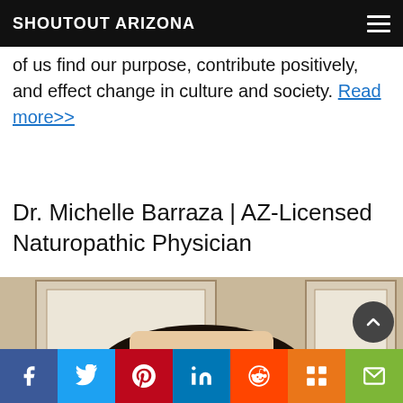SHOUTOUT ARIZONA
of us find our purpose, contribute positively, and effect change in culture and society. Read more>>
Dr. Michelle Barraza | AZ-Licensed Naturopathic Physician
[Figure (photo): Photo of Dr. Michelle Barraza, a woman with dark hair, standing in front of framed certificates on a wall. A scroll-to-top arrow button is visible in the lower right of the image.]
Social share bar: Facebook, Twitter, Pinterest, LinkedIn, Reddit, Mix, Email